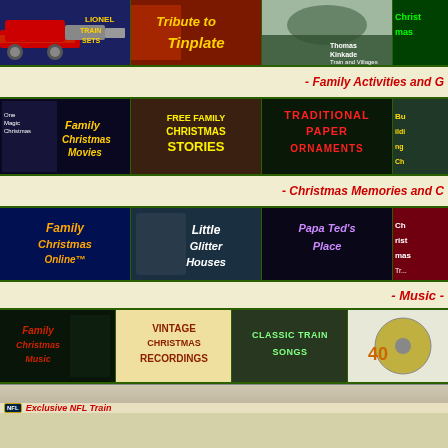[Figure (screenshot): Lionel Train Sets banner image with locomotive]
[Figure (screenshot): Tribute to Tinplate banner]
[Figure (screenshot): Thomas Kinkade Train and Villages banner]
[Figure (screenshot): Christmas partial banner (right edge)]
- Family Activities and C
[Figure (screenshot): Family Christmas Movies banner]
[Figure (screenshot): Free Family Christmas Stories banner]
[Figure (screenshot): Traditional Paper Ornaments banner]
[Figure (screenshot): Building Christmas partial banner]
- Christmas Memories and C
[Figure (screenshot): Family Christmas Online banner]
[Figure (screenshot): Little Glitter Houses banner]
[Figure (screenshot): Papa Ted's Place banner]
[Figure (screenshot): Christmas Trees partial banner]
- Music -
[Figure (screenshot): Family Christmas Music banner]
[Figure (screenshot): Vintage Christmas Recordings banner]
[Figure (screenshot): Classic Train Songs banner]
[Figure (screenshot): Partial right banner]
Exclusive NFL Train